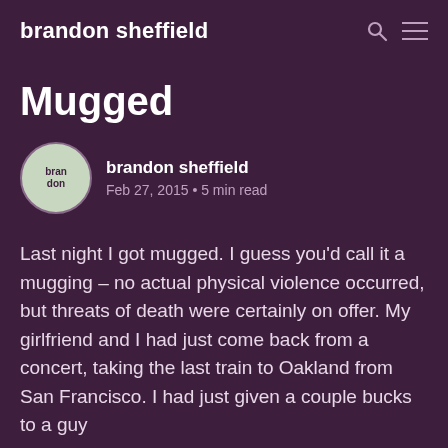brandon sheffield
Mugged
brandon sheffield
Feb 27, 2015 • 5 min read
Last night I got mugged. I guess you'd call it a mugging – no actual physical violence occurred, but threats of death were certainly on offer. My girlfriend and I had just come back from a concert, taking the last train to Oakland from San Francisco. I had just given a couple bucks to a guy